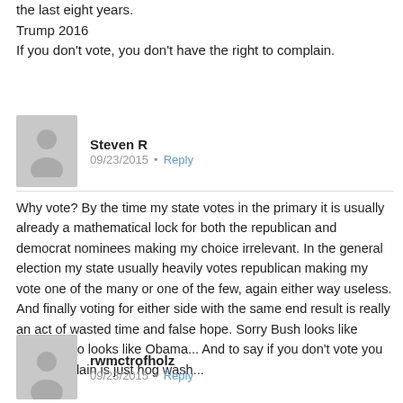the last eight years.
Trump 2016
If you don't vote, you don't have the right to complain.
Steven R   09/23/2015 · Reply
Why vote? By the time my state votes in the primary it is usually already a mathematical lock for both the republican and democrat nominees making my choice irrelevant. In the general election my state usually heavily votes republican making my vote one of the many or one of the few, again either way useless. And finally voting for either side with the same end result is really an act of wasted time and false hope. Sorry Bush looks like Clinton who looks like Obama... And to say if you don't vote you cant complain is just hog wash...
rwmctrofholz   09/23/2015 · Reply